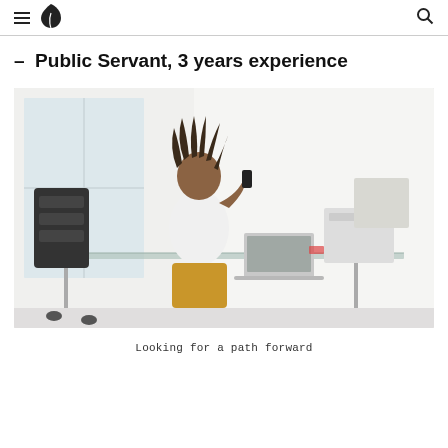- Public Servant, 3 years experience
[Figure (photo): A person with dreadlocks sitting at a glass desk, talking on a phone and using a laptop in a bright white office. Office equipment including a printer and boxes visible in the background.]
Looking for a path forward